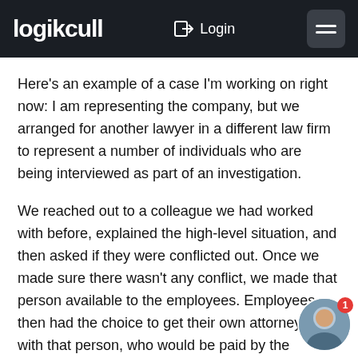logikcull  Login
Here's an example of a case I'm working on right now: I am representing the company, but we arranged for another lawyer in a different law firm to represent a number of individuals who are being interviewed as part of an investigation.
We reached out to a colleague we had worked with before, explained the high-level situation, and then asked if they were conflicted out. Once we made sure there wasn't any conflict, we made that person available to the employees. Employees then had the choice to get their own attorney or go with that person, who would be paid by the company, but wouldn't be representing the company.